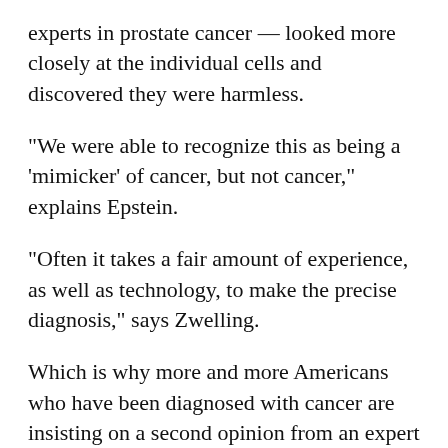experts in prostate cancer — looked more closely at the individual cells and discovered they were harmless.
"We were able to recognize this as being a 'mimicker' of cancer, but not cancer," explains Epstein.
"Often it takes a fair amount of experience, as well as technology, to make the precise diagnosis," says Zwelling.
Which is why more and more Americans who have been diagnosed with cancer are insisting on a second opinion from an expert pathologist.
Note: For a list of leading pathologists and their